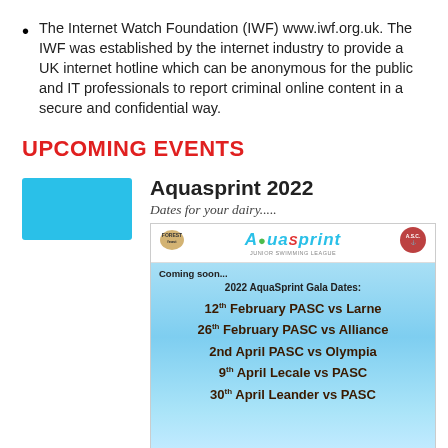The Internet Watch Foundation (IWF) www.iwf.org.uk. The IWF was established by the internet industry to provide a UK internet hotline which can be anonymous for the public and IT professionals to report criminal online content in a secure and confidential way.
UPCOMING EVENTS
Aquasprint 2022 – Dates for your dairy.....
[Figure (infographic): Aquasprint 2022 Gala Dates flyer showing coming soon dates: 12th February PASC vs Larne, 26th February PASC vs Alliance, 2nd April PASC vs Olympia, 9th April Lecale vs PASC, 30th April Leander vs PASC. Has Forest Feast, AquaSprint, and A.S.C. logos at top, pool water background.]